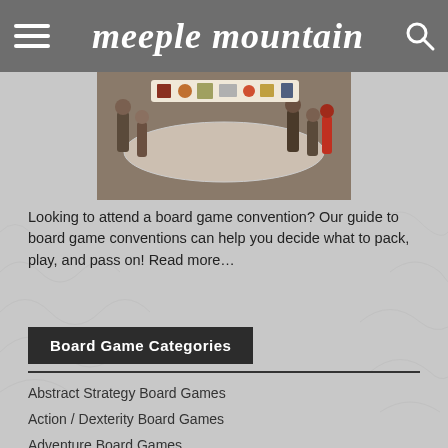meeple mountain
[Figure (photo): Board game convention photo showing people gathered around a large gaming table with various board game components visible at the top]
Looking to attend a board game convention? Our guide to board game conventions can help you decide what to pack, play, and pass on! Read more…
Board Game Categories
Abstract Strategy Board Games
Action / Dexterity Board Games
Adventure Board Games
Age of Reason
American Civil War Board Games
American Indian Wars
American Revolutionary War